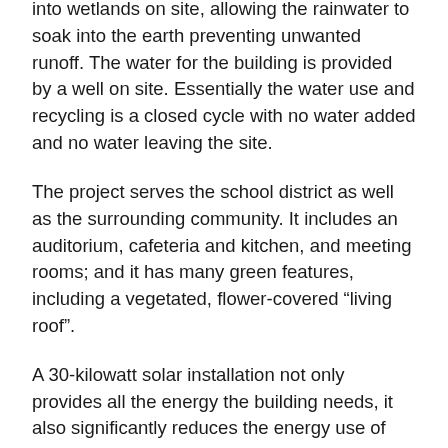into wetlands on site, allowing the rainwater to soak into the earth preventing unwanted runoff. The water for the building is provided by a well on site. Essentially the water use and recycling is a closed cycle with no water added and no water leaving the site.
The project serves the school district as well as the surrounding community. It includes an auditorium, cafeteria and kitchen, and meeting rooms; and it has many green features, including a vegetated, flower-covered “living roof”.
A 30-kilowatt solar installation not only provides all the energy the building needs, it also significantly reduces the energy use of the other buildings on site.
15000 Inc. is immensely proud to have been the